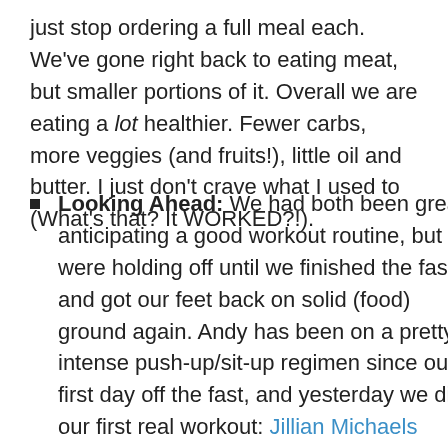just stop ordering a full meal each. We've gone right back to eating meat, but smaller portions of it. Overall we are eating a lot healthier. Fewer carbs, more veggies (and fruits!), little oil and butter. I just don't crave what I used to (What's that? It WORKED?!).
Looking Ahead: We had both been greatly anticipating a good workout routine, but were holding off until we finished the fast and got our feet back on solid (food) ground again. Andy has been on a pretty intense push-up/sit-up regimen since our first day off the fast, and yesterday we did our first real workout: Jillian Michaels Ripped in 30. It is no easy thing and I wanted to puke and die after the first five minutes. OMGsofun!!! Today I'm sore, but I feel great. Let the ripping/burning/othergymrattermsforexercis-ing continue!